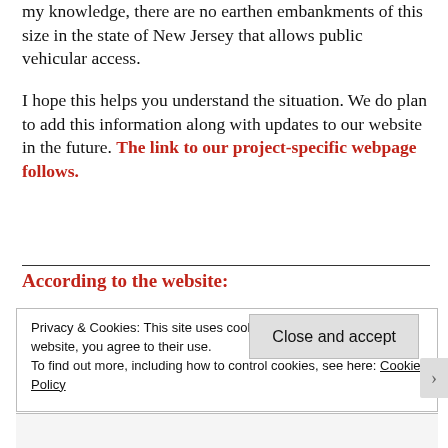my knowledge, there are no earthen embankments of this size in the state of New Jersey that allows public vehicular access.
I hope this helps you understand the situation. We do plan to add this information along with updates to our website in the future. The link to our project-specific webpage follows.
According to the website:
Privacy & Cookies: This site uses cookies. By continuing to use this website, you agree to their use.
To find out more, including how to control cookies, see here: Cookie Policy
Close and accept